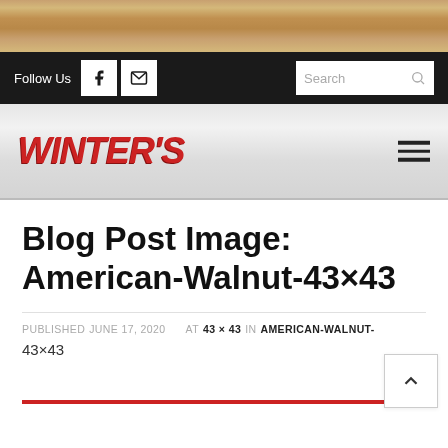[Figure (photo): Wood texture background top strip]
Follow Us  [Facebook icon]  [Email icon]  Search
[Figure (logo): Winter's logo in red italic bold text with hamburger menu icon]
Blog Post Image: American-Walnut-43×43
PUBLISHED JUNE 17, 2020   AT 43 × 43 IN AMERICAN-WALNUT-43×43
43×43